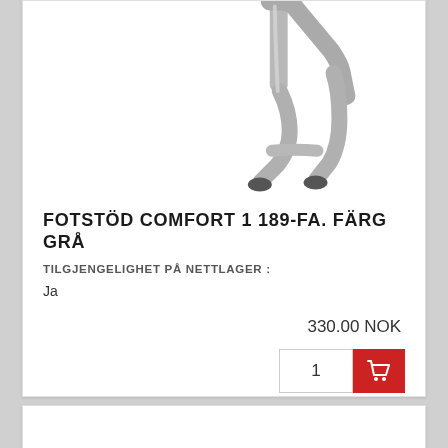[Figure (photo): Close-up photo of a footrest leg/frame in silver/grey metal with a black rubber foot tip, product detail shot on white background]
FOTSTÖD COMFORT 1 189-FA. FÄRG GRÅ
TILGJENGELIGHET PÅ NETTLAGER :
Ja
330.00 NOK
1